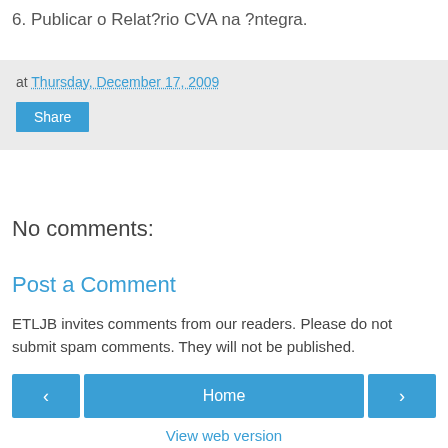6. Publicar o Relat?rio CVA na ?ntegra.
at Thursday, December 17, 2009
Share
No comments:
Post a Comment
ETLJB invites comments from our readers. Please do not submit spam comments. They will not be published.
‹  Home  ›
View web version
Powered by Blogger.